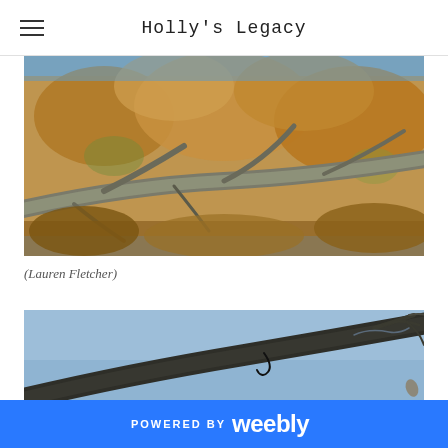Holly's Legacy
[Figure (photo): Close-up photograph of a lichen-covered tree branch in the foreground with blurred autumn foliage (brown and golden leaves) in the background]
(Lauren Fletcher)
[Figure (photo): Close-up photograph of a dark tree branch against a blue sky with bare twigs, showing a small wire or hook attached to the branch]
POWERED BY weebly